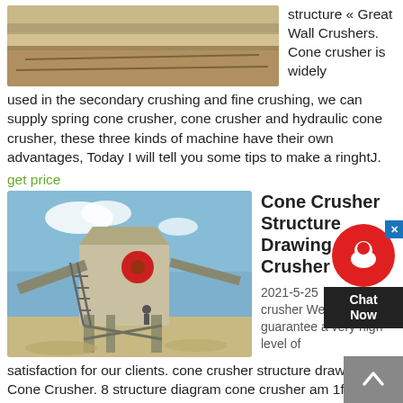[Figure (photo): Outdoor quarry/mining site with dirt terrain and rock formations]
structure « Great Wall Crushers. Cone crusher is widely used in the secondary crushing and fine crushing, we can supply spring cone crusher, cone crusher and hydraulic cone crusher, these three kinds of machine have their own advantages, Today I will tell you some tips to make a ringhtJ.
get price
[Figure (photo): Large industrial cone crusher machine on a construction/mining site with blue sky background]
Cone Crusher Structure Drawing Cone Crusher
2021-5-25   cone crusher We are able to guarantee a very high level of satisfaction for our clients. cone crusher structure drawing Cone Crusher. 8 structure diagram cone crusher am 1frame 2transmission 3an eccentrie sleeve 4bowl type bearing the foundation drawing provided by our company only provides the